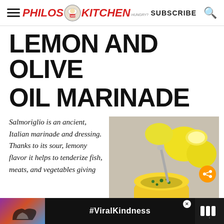Philos Kitchen — SUBSCRIBE (search icon)
LEMON AND OLIVE OIL MARINADE
Salmoriglio is an ancient, Italian marinade and dressing. Thanks to its sour, lemony flavor it helps to tenderize fish, meats, and vegetables giving
[Figure (photo): Photo of salmoriglio marinade in a yellow bowl with lemons, garlic, and herbs. Share button and 'WHAT'S NEXT — HOMEMADE SUN-DRIED...' overlay visible.]
[Figure (photo): Advertisement bar at bottom: heart-hands image, #ViralKindness text, weather channel logo.]